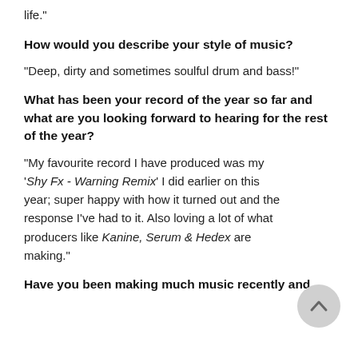life."
How would you describe your style of music?
"Deep, dirty and sometimes soulful drum and bass!"
What has been your record of the year so far and what are you looking forward to hearing for the rest of the year?
"My favourite record I have produced was my 'Shy Fx - Warning Remix' I did earlier on this year; super happy with how it turned out and the response I've had to it. Also loving a lot of what producers like Kanine, Serum & Hedex are making."
Have you been making much music recently and